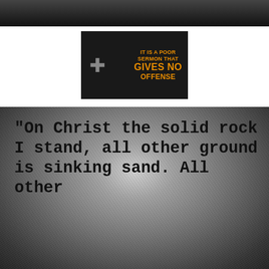[Figure (photo): Dark silhouette/photo strip at the top of the page, showing a dark scene]
[Figure (photo): Dark card with a cross symbol on the left and orange bold text reading: IT IS A POOR SERMON THAT GIVES NO OFFENSE]
[Figure (photo): Black and white scratched/textured background with typewriter-font text: "On Christ the solid rock I stand, all other ground is sinking sand. All other"]